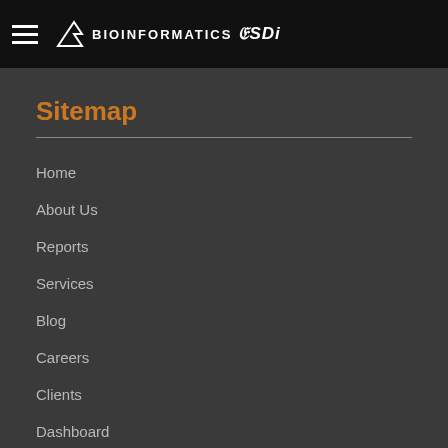BioInformatics SDi
Sitemap
Home
About Us
Reports
Services
Blog
Careers
Clients
Dashboard
Meet the Team
Sitemap